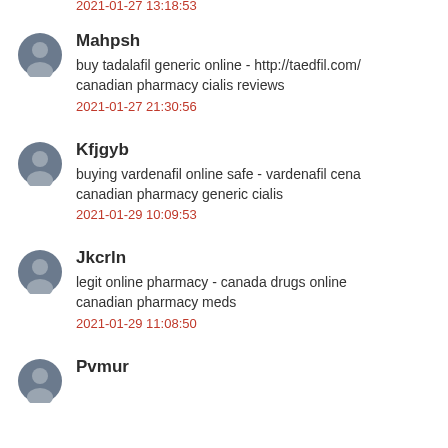2021-01-27 13:18:53
Mahpsh
buy tadalafil generic online - http://taedfil.com/ canadian pharmacy cialis reviews
2021-01-27 21:30:56
Kfjgyb
buying vardenafil online safe - vardenafil cena canadian pharmacy generic cialis
2021-01-29 10:09:53
Jkcrln
legit online pharmacy - canada drugs online canadian pharmacy meds
2021-01-29 11:08:50
Pvmur